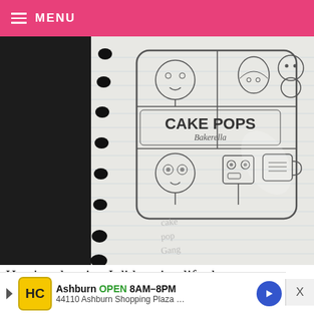MENU
[Figure (photo): A pencil sketch on lined notebook paper showing a book cover design for 'Cake Pops Bakerella' with cartoon cake pop characters drawn in a grid layout. The notebook has black spiral binding holes on the left side.]
Here’s a drawing I did to simplify the cover as much as possible. I ditched including my name because
[Figure (other): Advertisement banner: HC logo, Ashburn OPEN 8AM-8PM, 44110 Ashburn Shopping Plaza..., with blue arrow button and X close button]